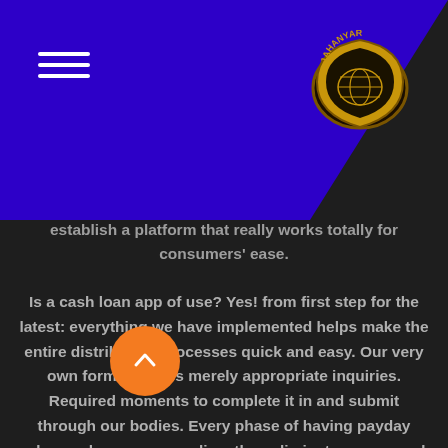[Figure (logo): Jahanyar badge logo — gold shield-shaped badge with world map and text JAHANYAR]
establish a platform that really works totally for consumers' ease.
Is a cash loan app of use? Yes! from first step for the latest: everything we have implemented helps make the entire distribution processes quick and easy. Our very own form includes merely appropriate inquiries. Required moments to complete it in and submit through our bodies. Every phase of having payday advance loan occurs online, thus eliminate papers and contours.